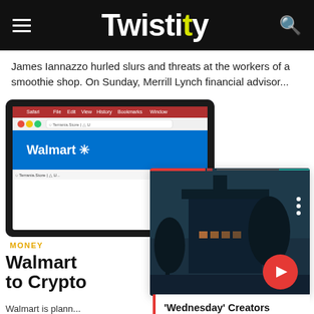Twistity
James Iannazzo hurled slurs and threats at the workers of a smoothie shop. On Sunday, Merrill Lynch financial advisor...
[Figure (screenshot): Tablet showing Walmart website in a browser]
MONEY
Walmart to Crypto
Walmart is plann... retail chain Walm...
[Figure (photo): Dark atmospheric photo of a large old building at night with trees, overlaid with video player controls and progress bar]
'Wednesday' Creators Explain Show's Relationship to 'The Addams Family'
Load More